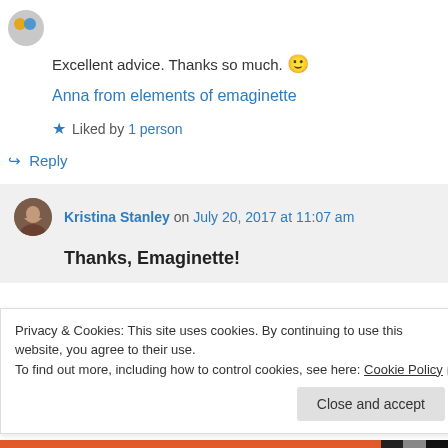[Figure (photo): Small circular avatar/icon in top-left corner]
Excellent advice. Thanks so much. 🙂
Anna from elements of emaginette
★ Liked by 1 person
↪ Reply
[Figure (photo): Circular avatar photo of Kristina Stanley]
Kristina Stanley on July 20, 2017 at 11:07 am
Thanks, Emaginette!
Privacy & Cookies: This site uses cookies. By continuing to use this website, you agree to their use.
To find out more, including how to control cookies, see here: Cookie Policy
Close and accept